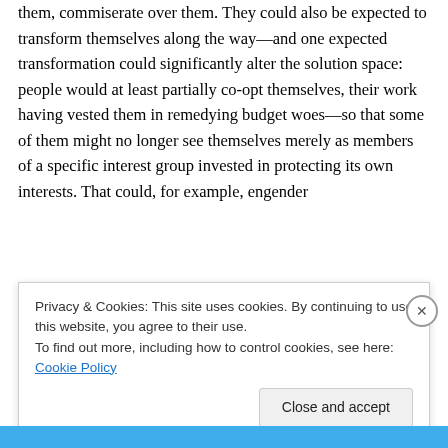They could talk about solutions, argue about them, commiserate over them. They could also be expected to transform themselves along the way—and one expected transformation could significantly alter the solution space: people would at least partially co-opt themselves, their work having vested them in remedying budget woes—so that some of them might no longer see themselves merely as members of a specific interest group invested in protecting its own interests. That could, for example, engender
Privacy & Cookies: This site uses cookies. By continuing to use this website, you agree to their use.
To find out more, including how to control cookies, see here: Cookie Policy